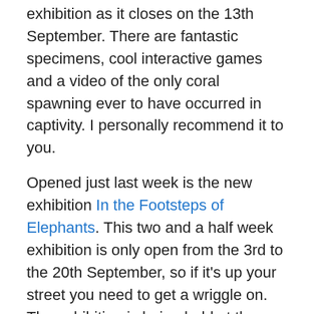exhibition as it closes on the 13th September. There are fantastic specimens, cool interactive games and a video of the only coral spawning ever to have occurred in captivity. I personally recommend it to you.
Opened just last week is the new exhibition In the Footsteps of Elephants. This two and a half week exhibition is only open from the 3rd to the 20th September, so if it's up your street you need to get a wriggle on. The exhibition is being held at the Nature in Art Museum and Gallery in Gloucestershire, which looks really worth too.
Jobs
If you are looking to move, or move into a, role in natural sciences the Naturejobs Career Expo in London on Friday 18th September should be a great place to meet others in the field, attend workshops and conference talks.